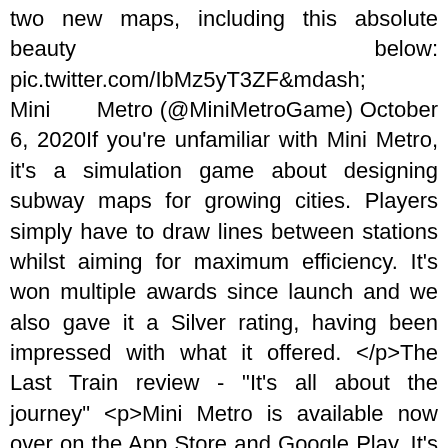two new maps, including this absolute beauty below: pic.twitter.com/IbMz5yT3ZF&mdash; Mini Metro (@MiniMetroGame) October 6, 2020If you're unfamiliar with Mini Metro, it's a simulation game about designing subway maps for growing cities. Players simply have to draw lines between stations whilst aiming for maximum efficiency. It's won multiple awards since launch and we also gave it a Silver rating, having been impressed with what it offered. </p>The Last Train review - "It's all about the journey" <p>Mini Metro is available now over on the App Store and Google Play. It's a premium title that costs $3.99. However, if you are a subscriber to Google Play Pass, you'll also be a  ×